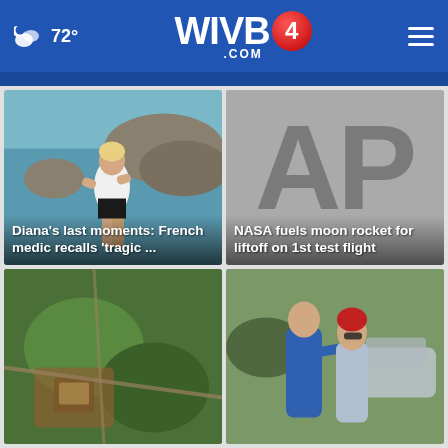72° WIVB4.COM
[Figure (photo): News card: woman in swimsuit at rocky beach with headline 'Diana’s last moments: French medic recalls ‘tragic …']
[Figure (photo): News card: AP logo on gray background with headline 'NASA fuels moon rocket for liftoff on 1st test flight']
[Figure (photo): News card: aerial satellite view of land]
[Figure (photo): News card: people outdoors, man in blue shirt, woman with red hair]